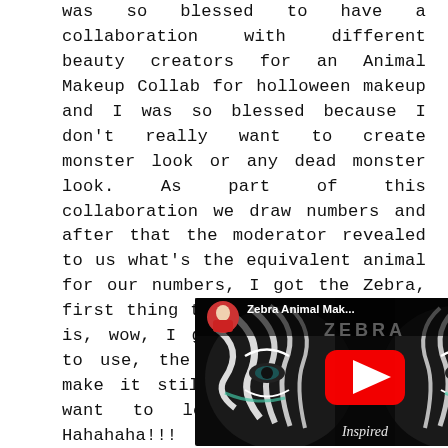was so blessed to have a collaboration with different beauty creators for an Animal Makeup Collab for holloween makeup and I was so blessed because I don't really want to create monster look or any dead monster look. As part of this collaboration we draw numbers and after that the moderator revealed to us what's the equivalent animal for our numbers, I got the Zebra, first thing that came into my mind is, wow, I got the minimal color to use, the challenge is how to make it still glamorous, I don't want to look scary at all. Hahahaha!!! anyway this is the video, hope you could watch it.
[Figure (screenshot): YouTube video thumbnail showing 'Zebra Animal Mak...' with a zebra-inspired face makeup and a YouTube play button overlay. Channel icon shows a woman in a red jacket.]